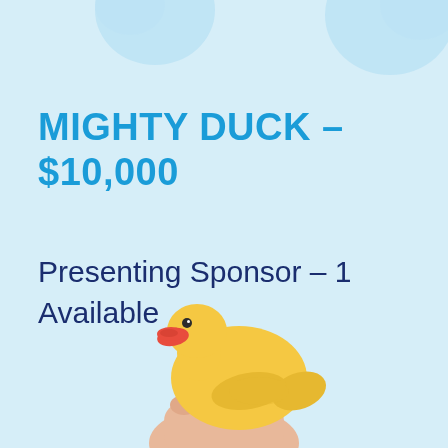[Figure (illustration): Partial decorative duck/wave shapes in light blue at the top corners of the page]
MIGHTY DUCK – $10,000
Presenting Sponsor – 1 Available
[Figure (photo): A hand holding a yellow rubber duck with orange beak, partially cropped at the bottom of the page]